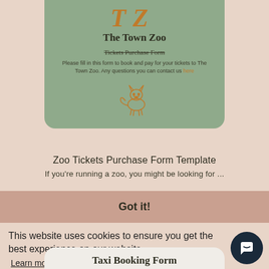[Figure (illustration): Green rounded card showing The Town Zoo logo (orange decorative letters TZ), zoo name in bold serif, Tickets Purchase Form label, description text, and an orange fox outline illustration]
Zoo Tickets Purchase Form Template
If you're running a zoo, you might be looking for ...
Got it!
This website uses cookies to ensure you get the best experience on our website.
Learn more
Taxi Booking Form